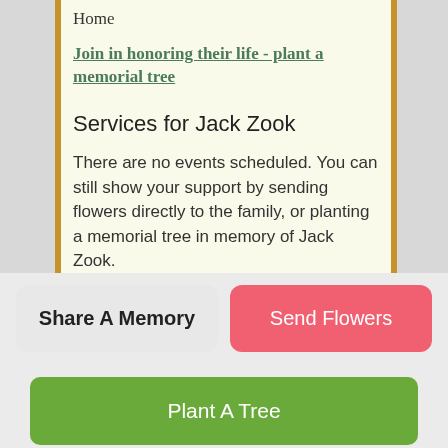Home
Join in honoring their life - plant a memorial tree
Services for Jack Zook
There are no events scheduled. You can still show your support by sending flowers directly to the family, or planting a memorial tree in memory of Jack Zook.
Visit the Tribute Store
Share A Memory
Send Flowers
Plant A Tree